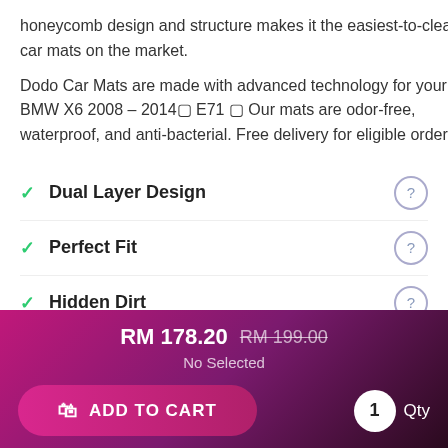honeycomb design and structure makes it the easiest-to-clean car mats on the market. Dodo Car Mats are made with advanced technology for your BMW X6 2008 – 2014⊠ E71 ⊠ Our mats are odor-free, waterproof, and anti-bacterial. Free delivery for eligible orders.
✓ Dual Layer Design
✓ Perfect Fit
✓ Hidden Dirt
✓ Water Resistance
RM 178.20  RM 199.00  No Selected
ADD TO CART  1  Qty